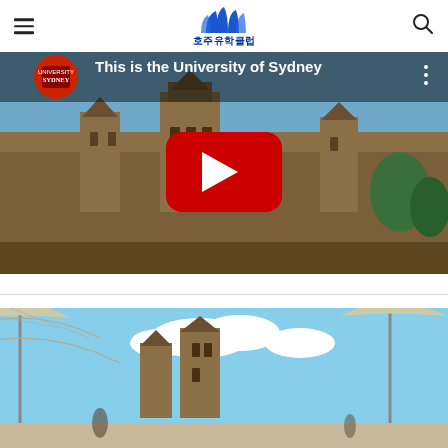[Figure (logo): Korean Australia study abroad club logo with Sydney Opera House sails icon in blue and Korean text 호주유학클럽]
[Figure (screenshot): YouTube video thumbnail showing University of Sydney Gothic sandstone building with red play button overlay. Title reads: This is the University of Sydney]
[Figure (photo): Outdoor photo of University of Sydney campus with shade umbrellas in foreground and Gothic sandstone tower in background under blue sky]